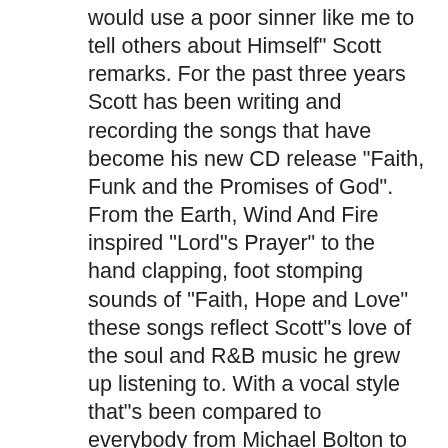would use a poor sinner like me to tell others about Himself" Scott remarks. For the past three years Scott has been writing and recording the songs that have become his new CD release "Faith, Funk and the Promises of God". From the Earth, Wind And Fire inspired "Lord"s Prayer" to the hand clapping, foot stomping sounds of "Faith, Hope and Love" these songs reflect Scott"s love of the soul and R&B music he grew up listening to. With a vocal style that"s been compared to everybody from Michael Bolton to Ray Charles, Scott delivers the timeless gospel message in this collection of twelve original grooves that are energetic, uplifting and just plain funky. As Scott says "I am blessed that my love of music and of proclaiming the good news of Jesus Christ have intersected on this project. I believe this style of